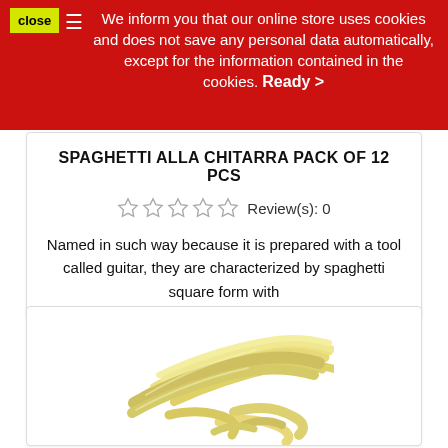close  We inform you that our online store uses cookies and does not save any personal data automatically, except for the information contained in the cookies. Ready >
SPAGHETTI ALLA CHITARRA PACK OF 12 PCS
Review(s): 0
Named in such way because it is prepared with a tool called guitar, they are characterized by spaghetti square form with
[Figure (photo): Pile of spaghetti alla chitarra pasta — pale yellow, square-cut long pasta strands bundled together]